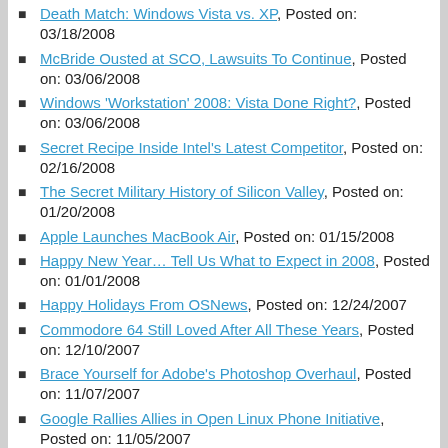Death Match: Windows Vista vs. XP, Posted on: 03/18/2008
McBride Ousted at SCO, Lawsuits To Continue, Posted on: 03/06/2008
Windows 'Workstation' 2008: Vista Done Right?, Posted on: 03/06/2008
Secret Recipe Inside Intel's Latest Competitor, Posted on: 02/16/2008
The Secret Military History of Silicon Valley, Posted on: 01/20/2008
Apple Launches MacBook Air, Posted on: 01/15/2008
Happy New Year… Tell Us What to Expect in 2008, Posted on: 01/01/2008
Happy Holidays From OSNews, Posted on: 12/24/2007
Commodore 64 Still Loved After All These Years, Posted on: 12/10/2007
Brace Yourself for Adobe's Photoshop Overhaul, Posted on: 11/07/2007
Google Rallies Allies in Open Linux Phone Initiative, Posted on: 11/05/2007
Microsoft Suffers EU Antitrust Defeat, Posted on: